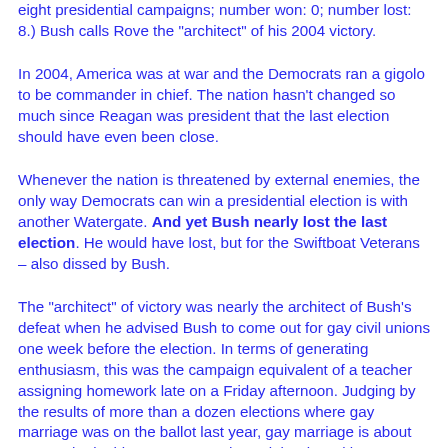eight presidential campaigns; number won: 0; number lost: 8.) Bush calls Rove the "architect" of his 2004 victory.
In 2004, America was at war and the Democrats ran a gigolo to be commander in chief. The nation hasn't changed so much since Reagan was president that the last election should have even been close.
Whenever the nation is threatened by external enemies, the only way Democrats can win a presidential election is with another Watergate. And yet Bush nearly lost the last election. He would have lost, but for the Swiftboat Veterans – also dissed by Bush.
The "architect" of victory was nearly the architect of Bush's defeat when he advised Bush to come out for gay civil unions one week before the election. In terms of generating enthusiasm, this was the campaign equivalent of a teacher assigning homework late on a Friday afternoon. Judging by the results of more than a dozen elections where gay marriage was on the ballot last year, gay marriage is about as popular in this country as a day celebrating Hitler's